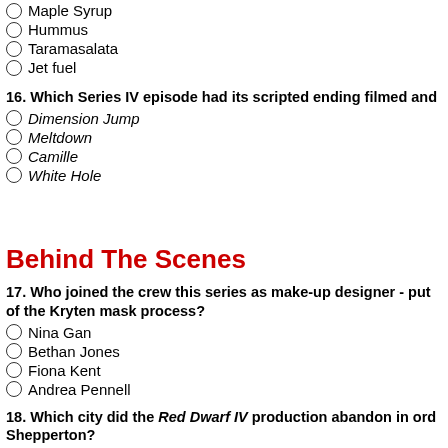Maple Syrup
Hummus
Taramasalata
Jet fuel
16. Which Series IV episode had its scripted ending filmed and
Dimension Jump
Meltdown
Camille
White Hole
Behind The Scenes
17. Who joined the crew this series as make-up designer - put of the Kryten mask process?
Nina Gan
Bethan Jones
Fiona Kent
Andrea Pennell
18. Which city did the Red Dwarf IV production abandon in ord Shepperton?